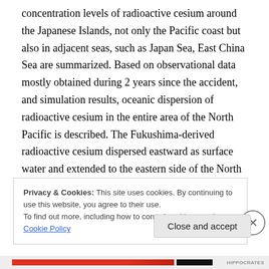concentration levels of radioactive cesium around the Japanese Islands, not only the Pacific coast but also in adjacent seas, such as Japan Sea, East China Sea are summarized. Based on observational data mostly obtained during 2 years since the accident, and simulation results, oceanic dispersion of radioactive cesium in the entire area of the North Pacific is described. The Fukushima-derived radioactive cesium dispersed eastward as surface water and extended to the eastern side of the North Pacific in 2014, and was also observed via a southward intrusion to subsurface waters as Subtropical Mode Water and Central Mode Water. The radioactive cesium movement related
Privacy & Cookies: This site uses cookies. By continuing to use this website, you agree to their use.
To find out more, including how to control cookies, see here: Cookie Policy
Close and accept